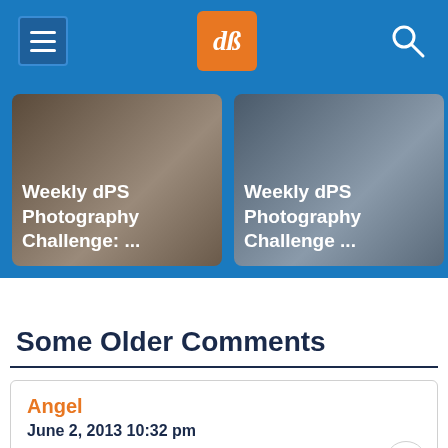dPS navigation bar with menu icon, dPS logo, and search icon
[Figure (screenshot): Two card thumbnails: 'Weekly dPS Photography Challenge: ...' and 'Weekly dPS Photography Challenge ...' on a blue background]
Some Older Comments
Angel
June 2, 2013 10:32 pm